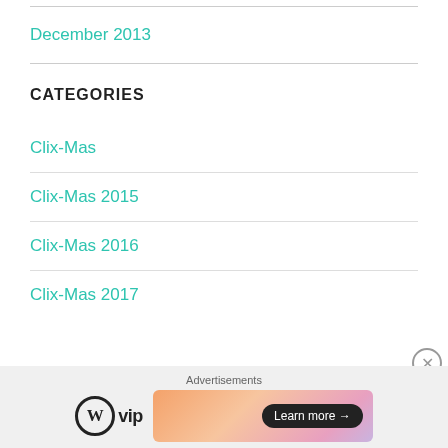December 2013
CATEGORIES
Clix-Mas
Clix-Mas 2015
Clix-Mas 2016
Clix-Mas 2017
Advertisements